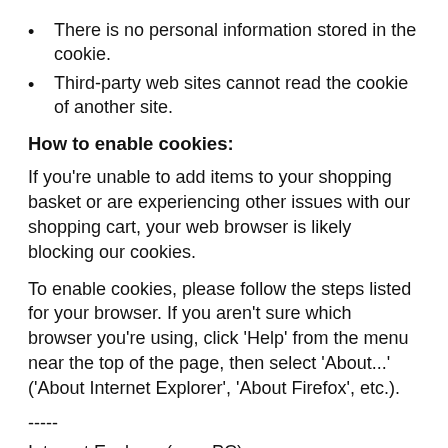There is no personal information stored in the cookie.
Third-party web sites cannot read the cookie of another site.
How to enable cookies:
If you're unable to add items to your shopping basket or are experiencing other issues with our shopping cart, your web browser is likely blocking our cookies.
To enable cookies, please follow the steps listed for your browser. If you aren't sure which browser you're using, click 'Help' from the menu near the top of the page, then select 'About...' ('About Internet Explorer', 'About Firefox', etc.).
-----
Internet Explorer (on a PC)
-Open Tools > Internet Options